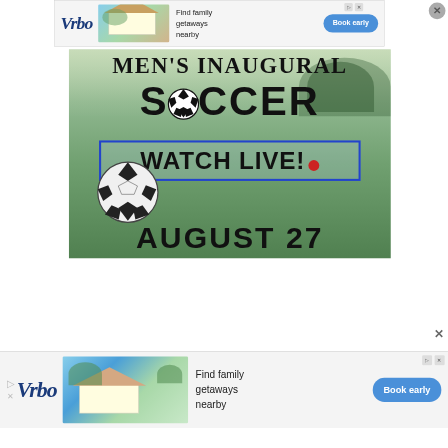[Figure (other): VRBO advertisement banner at top: shows logo, house photo, 'Find family getaways nearby' text, and 'Book early' button]
[Figure (photo): Men's Inaugural Soccer promotional image on a soccer field background with text: MEN'S INAUGURAL, SOCCER, WATCH LIVE! (red dot), AUGUST 27. Soccer ball visible in lower left. Blue bordered watch live box.]
[Figure (other): VRBO advertisement banner at bottom: shows logo, beach house photo, 'Find family getaways nearby' text, and 'Book early' button]